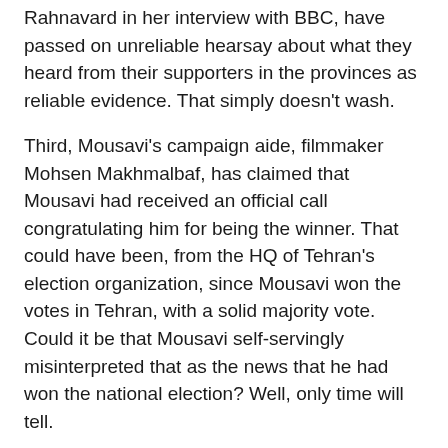Rahnavard in her interview with BBC, have passed on unreliable hearsay about what they heard from their supporters in the provinces as reliable evidence. That simply doesn't wash.
Third, Mousavi's campaign aide, filmmaker Mohsen Makhmalbaf, has claimed that Mousavi had received an official call congratulating him for being the winner. That could have been, from the HQ of Tehran's election organization, since Mousavi won the votes in Tehran, with a solid majority vote. Could it be that Mousavi self-servingly misinterpreted that as the news that he had won the national election? Well, only time will tell.
What's beyond dispute, however, is that Mousavi's official complaint to the overseeing Council of Guardians is thin on specifics and is peppered with allegations of pre-election improprieties, which do not substantiate his rigged elections wild claim. A deconstruction of this two page document sheds much light on the fundamental weakness of Mousavi's case for new elections:
Item 1. It has nothing to do with the voting process and is